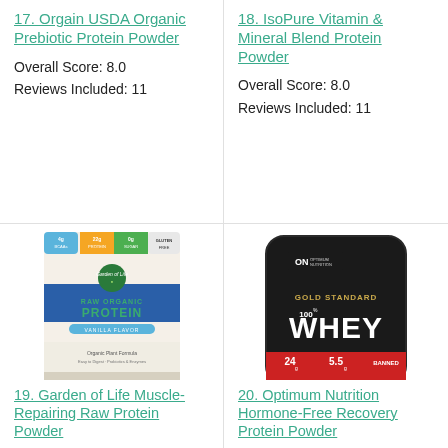17. Orgain USDA Organic Prebiotic Protein Powder
Overall Score: 8.0
Reviews Included: 11
18. IsoPure Vitamin & Mineral Blend Protein Powder
Overall Score: 8.0
Reviews Included: 11
[Figure (photo): Garden of Life RAW ORGANIC PROTEIN Vanilla Flavor supplement container]
19. Garden of Life Muscle-Repairing Raw Protein Powder
[Figure (photo): Optimum Nutrition GOLD STANDARD 100% WHEY protein powder black container]
20. Optimum Nutrition Hormone-Free Recovery Protein Powder